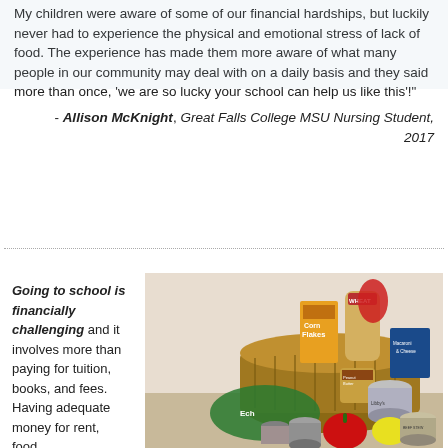My children were aware of some of our financial hardships, but luckily never had to experience the physical and emotional stress of lack of food. The experience has made them more aware of what many people in our community may deal with on a daily basis and they said more than once, 'we are so lucky your school can help us like this'!"
- Allison McKnight, Great Falls College MSU Nursing Student, 2017
[Figure (photo): A wicker basket filled with various grocery items including Corn Flakes cereal, wheat bread, canned goods, peanut butter, macaroni and cheese, and fresh vegetables including a red bell pepper, surrounded by fresh produce on a table.]
Going to school is financially challenging and it involves more than paying for tuition, books, and fees. Having adequate money for rent, food...